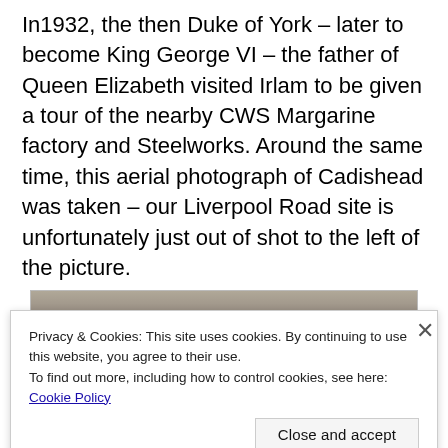In1932, the then Duke of York – later to become King George VI – the father of Queen Elizabeth visited Irlam to be given a tour of the nearby CWS Margarine factory and Steelworks. Around the same time, this aerial photograph of Cadishead was taken – our Liverpool Road site is unfortunately just out of shot to the left of the picture.
[Figure (photo): Partial aerial photograph of Cadishead, black and white, partially obscured by cookie consent banner]
Privacy & Cookies: This site uses cookies. By continuing to use this website, you agree to their use.
To find out more, including how to control cookies, see here: Cookie Policy
Close and accept